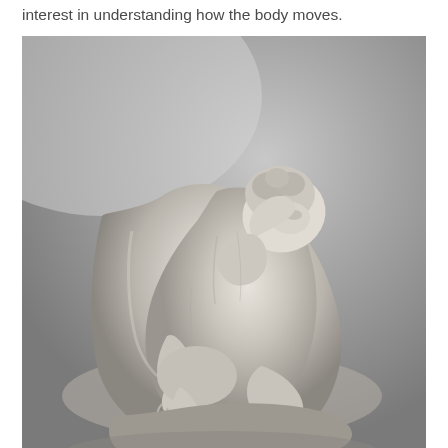interest in understanding how the body moves.
[Figure (photo): Black and white photograph of a marble sculpture depicting a crouching nude human figure with head bowed down, arm raised near the head, in a tightly compressed pose. The sculpture is set against a gradient grey background.]